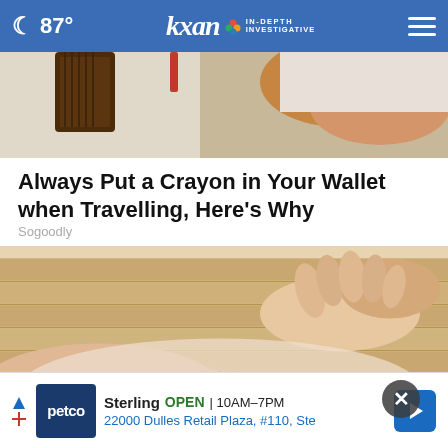87° kxan IN-DEPTH INVESTIGATIVE
[Figure (photo): Partial view of a wallet or similar dark leather object on a light background, cropped near the top of the content area.]
Always Put a Crayon in Your Wallet when Travelling, Here's Why
Sogoodly
[Figure (photo): Hands holding and massaging a lower leg or ankle area, resting on a light wooden floor. A close-up health/wellness related image.]
[Figure (other): Petco advertisement banner: Sterling OPEN 10AM-7PM, 22000 Dulles Retail Plaza, #110, Ste]